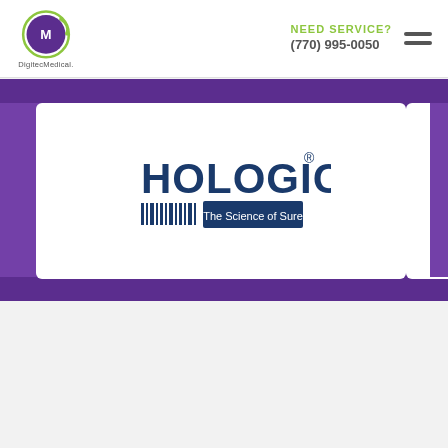[Figure (logo): DigitecMedical logo: circular icon with letter M and stylized d, green ring, purple interior]
NEED SERVICE?
(770) 995-0050
[Figure (logo): Hologic logo: dark blue bold text HOLOGIC with registered trademark symbol, barcode graphic below, blue rectangle with text 'The Science of Sure']